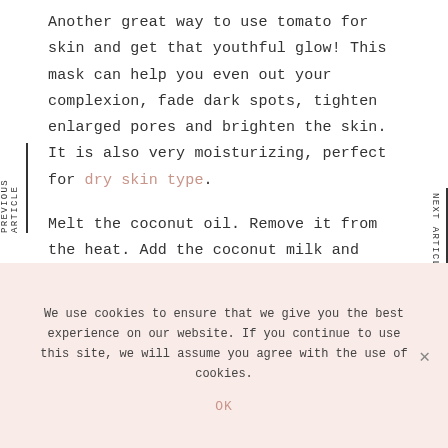Another great way to use tomato for skin and get that youthful glow! This mask can help you even out your complexion, fade dark spots, tighten enlarged pores and brighten the skin. It is also very moisturizing, perfect for dry skin type.
Melt the coconut oil. Remove it from the heat. Add the coconut milk and tomato pulp and mix everything well together.
PREVIOUS ARTICLE
NEXT ARTICLE
We use cookies to ensure that we give you the best experience on our website. If you continue to use this site, we will assume you agree with the use of cookies.
OK